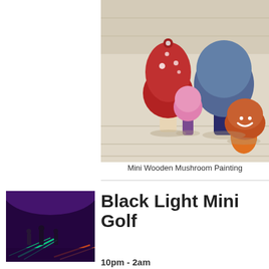[Figure (photo): Four colorful ceramic/wooden mushroom figurines on a light wooden surface: a tall red-capped one, a blue/navy one, a small pink and purple one, and a smiling orange and brown one.]
Mini Wooden Mushroom Painting
[Figure (photo): Indoor black light mini golf course with glowing neon lanes and people playing in a dark room lit with purple/UV lighting.]
Black Light Mini Golf
10pm - 2am